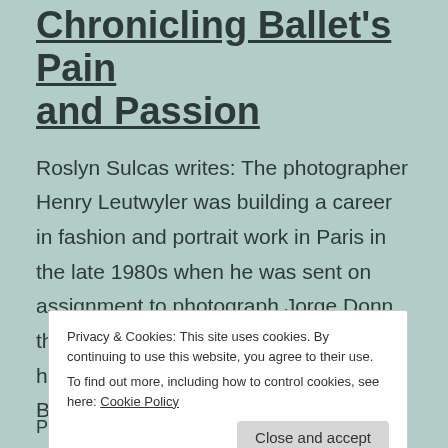Chronicling Ballet's Pain and Passion
Roslyn Sulcas writes: The photographer Henry Leutwyler was building a career in fashion and portrait work in Paris in the late 1980s when he was sent on assignment to photograph Jorge Donn, the charismatic principal dancer who had risen to fame with Maurice Béjart's Ballet
Privacy & Cookies: This site uses cookies. By continuing to use this website, you agree to their use. To find out more, including how to control cookies, see here: Cookie Policy
Published January 2, 2015